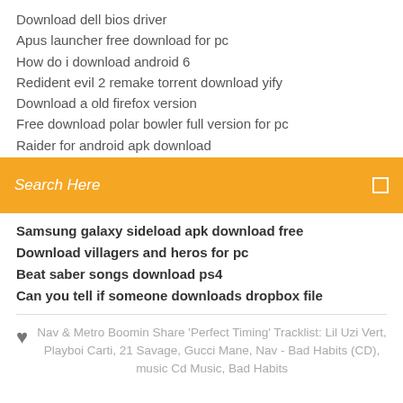Download dell bios driver
Apus launcher free download for pc
How do i download android 6
Redident evil 2 remake torrent download yify
Download a old firefox version
Free download polar bowler full version for pc
Raider for android apk download
[Figure (screenshot): Orange search bar with placeholder text 'Search Here' and a small square icon on the right]
Samsung galaxy sideload apk download free
Download villagers and heros for pc
Beat saber songs download ps4
Can you tell if someone downloads dropbox file
Nav & Metro Boomin Share 'Perfect Timing' Tracklist: Lil Uzi Vert, Playboi Carti, 21 Savage, Gucci Mane, Nav - Bad Habits (CD), music Cd Music, Bad Habits